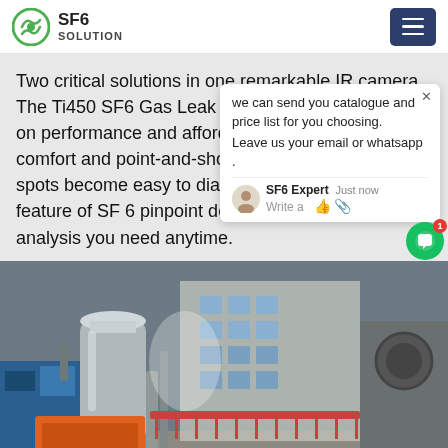SF6 SOLUTION
Two critical solutions in one remarkable IR camera. The Ti450 SF6 Gas Leak Detector tips the scales on performance and affordability. With its pistol grip comfort and point-and-shoot convenience, the tough spots become easy to diagnose. With the added feature of SF 6 pinpoint detection you can get the analysis you need anytime.
[Figure (screenshot): Chat popup overlay showing message: 'we can send you catalogue and price list for you choosing. Leave us your email or whatsapp.' with SF6 Expert avatar and just now timestamp, plus a green chat FAB button with notification badge showing 1.]
[Figure (photo): Industrial equipment in a facility — large silver cylindrical tank, blue machinery, orange frame equipment, pipes, and a building exterior visible in background.]